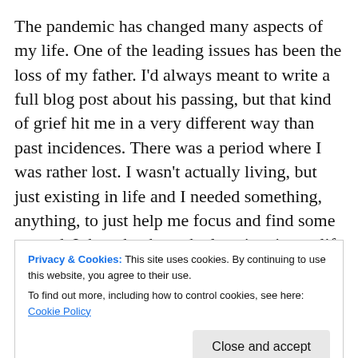The pandemic has changed many aspects of my life. One of the leading issues has been the loss of my father. I'd always meant to write a full blog post about his passing, but that kind of grief hit me in a very different way than past incidences. There was a period where I was rather lost. I wasn't actually living, but just existing in life and I needed something, anything, to just help me focus and find some ground. I thought about the last time in my life that I'd felt thoroughly happy and carefree and that was in
Privacy & Cookies: This site uses cookies. By continuing to use this website, you agree to their use.
To find out more, including how to control cookies, see here: Cookie Policy
the way are hardly more than Facebook or LinkedIn